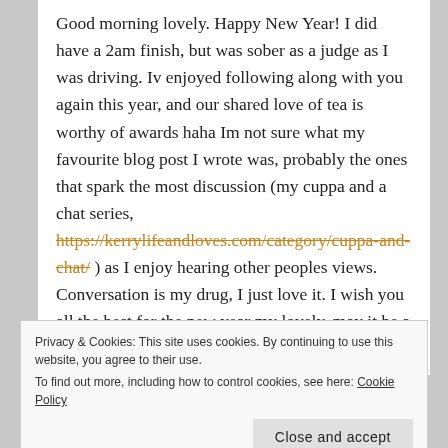Good morning lovely. Happy New Year! I did have a 2am finish, but was sober as a judge as I was driving. Iv enjoyed following along with you again this year, and our shared love of tea is worthy of awards haha Im not sure what my favourite blog post I wrote was, probably the ones that spark the most discussion (my cuppa and a chat series, https://kerrylifeandloves.com/category/cuppa-and-chat/ ) as I enjoy hearing other peoples views. Conversation is my drug, I just love it. I wish you all the best for the new year my lovely, may it be a fab one xxx
Privacy & Cookies: This site uses cookies. By continuing to use this website, you agree to their use. To find out more, including how to control cookies, see here: Cookie Policy